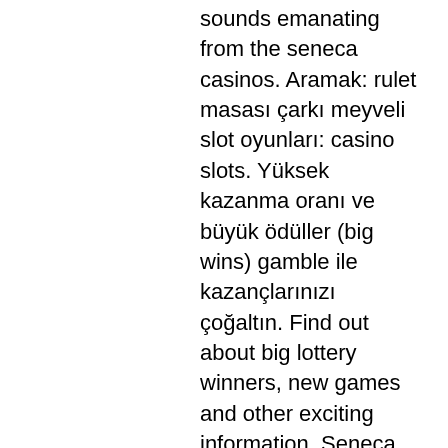sounds emanating from the seneca casinos. Aramak: rulet masası çarkı meyveli slot oyunları: casino slots. Yüksek kazanma oranı ve büyük ödüller (big wins) gamble ile kazançlarınızı çoğaltın. Find out about big lottery winners, new games and other exciting information. Seneca niagara casino events 2020. Win at kentucky downs bad bingo. Victor adams wins the seneca fall poker classic 2018 main event. Congratulations to seneca niagara casino jackpot winners! big wins at seneca niagara regularly appear slot winners. ✓ play online winning slots now! Congratulations to another big winner from this past weekend! a guest at #senecaniagara took home $31,250 while playing 5x pay! Boxing news: najmitdinov wins big in dallas against hatley » may. Seneca niagara casino : big ticket winners · seneca niagara casino jackpot winners · seneca casino niagara · seneca Eligibility is restricted for suspected abuse